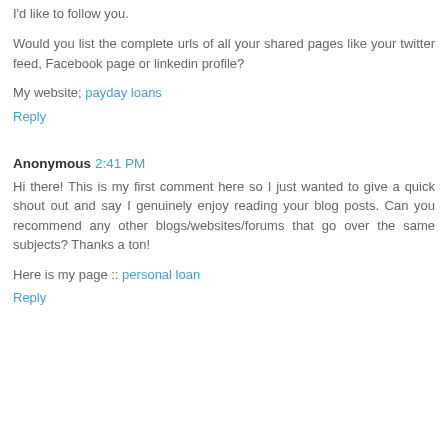I'd like to follow you.
Would you list the complete urls of all your shared pages like your twitter feed, Facebook page or linkedin profile?
My website; payday loans
Reply
Anonymous 2:41 PM
Hi there! This is my first comment here so I just wanted to give a quick shout out and say I genuinely enjoy reading your blog posts. Can you recommend any other blogs/websites/forums that go over the same subjects? Thanks a ton!
Here is my page :: personal loan
Reply